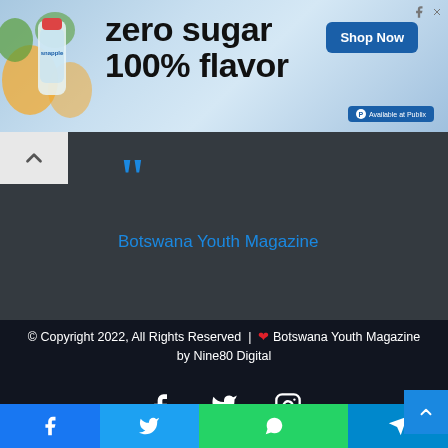[Figure (screenshot): Snapple advertisement banner: zero sugar 100% flavor with Shop Now button and Available at Publix badge]
[Figure (screenshot): Dark gray quote block with large blue quotation mark icon and blue text 'Botswana Youth Magazine', back arrow button on left]
© Copyright 2022, All Rights Reserved | ❤ Botswana Youth Magazine by Nine80 Digital
[Figure (screenshot): Social media icons: Facebook, Twitter, Instagram in white on dark background]
[Figure (screenshot): Bottom share bar with Facebook, Twitter, WhatsApp, Telegram buttons]